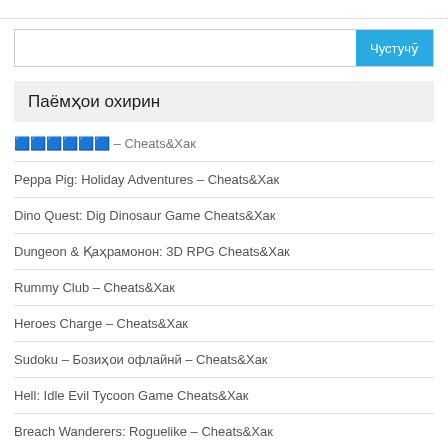Чустучӯ
Паёмҳои охирин
🎮🎮🎮🎮🎮🎮 – Cheats&Хак
Peppa Pig: Holiday Adventures – Cheats&Хак
Dino Quest: Dig Dinosaur Game Cheats&Хак
Dungeon & Қаҳрамонон: 3D RPG Cheats&Хак
Rummy Club – Cheats&Хак
Heroes Charge – Cheats&Хак
Sudoku – Бозиҳои офлайнй – Cheats&Хак
Hell: Idle Evil Tycoon Game Cheats&Хак
Breach Wanderers: Roguelike – Cheats&Хак